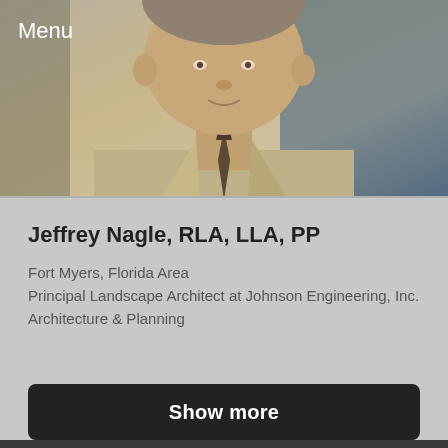[Figure (photo): Profile photo of Jeffrey Nagle, showing a man in a tan/beige dress shirt with a tie, photographed from approximately chest up. Background is blurred with blue tones.]
Menu
Jeffrey Nagle, RLA, LLA, PP
Fort Myers, Florida Area
Principal Landscape Architect at Johnson Engineering, Inc.
Architecture & Planning
Show more